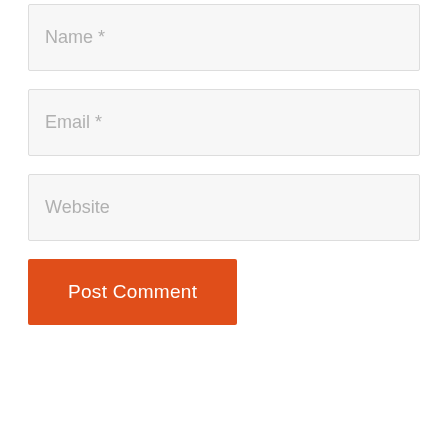Name *
Email *
Website
Post Comment